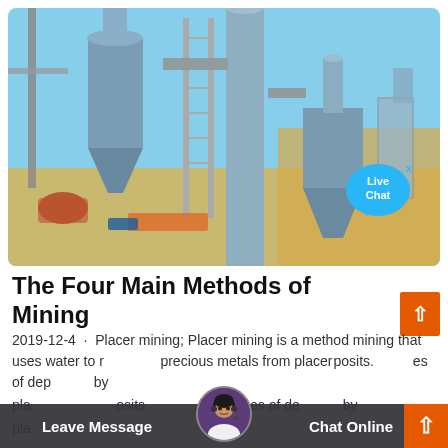[Figure (photo): Industrial mining/processing equipment with large metal silos, cyclone separators, and industrial towers against a blue sky. Construction site with scaffolding visible. Live Chat bubble overlay in top right of image.]
The Four Main Methods of Mining
2019-12-4 · Placer mining; Placer mining is a method mining that uses water to recover precious metals from placer deposits. Types of deposits by placer mining are obtained by
Leave Message
Chat Online